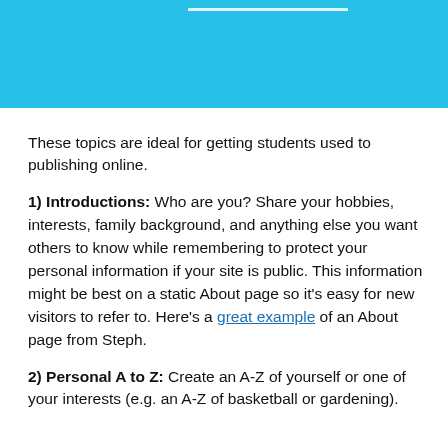[Figure (other): Blue banner/header image with a white underline bar near top]
These topics are ideal for getting students used to publishing online.
1) Introductions: Who are you? Share your hobbies, interests, family background, and anything else you want others to know while remembering to protect your personal information if your site is public. This information might be best on a static About page so it's easy for new visitors to refer to. Here's a great example of an About page from Steph.
2) Personal A to Z: Create an A-Z of yourself or one of your interests (e.g. an A-Z of basketball or gardening).